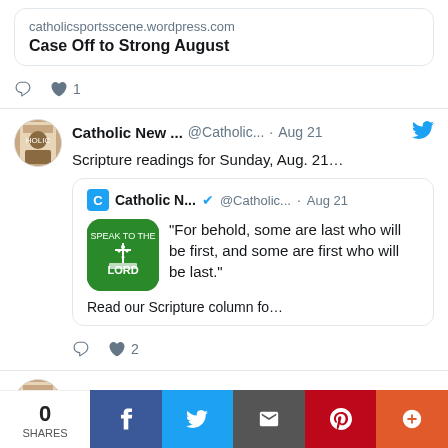[Figure (screenshot): Top partial tweet with a link card showing catholicsportsscene.wordpress.com and 'Case Off to Strong August', with reply and like icons (1 like)]
Catholic New ... @Catholic... · Aug 21
Scripture readings for Sunday, Aug. 21…
[Figure (screenshot): Quoted tweet card: Catholic N... @Catholic... · Aug 21, with green app icon. Quote: "For behold, some are last who will be first, and some are first who will be last." Read our Scripture column fo…]
♡ 2
Catholic New ... @Catholic... · Aug 20
0 SHARES
[Figure (infographic): Social share bar with Facebook, Twitter, Email, Pinterest, and More buttons]